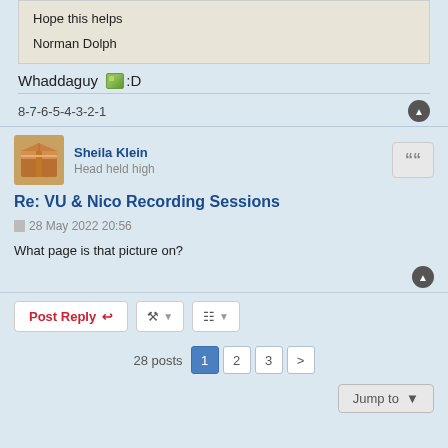Hope this helps

Norman Dolph
Whaddaguy :D
8-7-6-5-4-3-2-1
Sheila Klein
Head held high
Re: VU & Nico Recording Sessions
28 May 2022 20:56
What page is that picture on?
Post Reply | [tools] | [sort] | 28 posts 1 2 3 > | Jump to